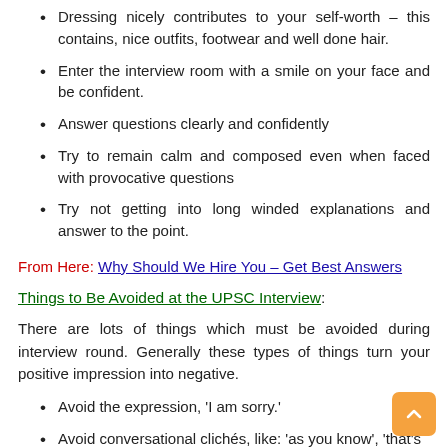Dressing nicely contributes to your self-worth – this contains, nice outfits, footwear and well done hair.
Enter the interview room with a smile on your face and be confident.
Answer questions clearly and confidently
Try to remain calm and composed even when faced with provocative questions
Try not getting into long winded explanations and answer to the point.
From Here: Why Should We Hire You – Get Best Answers
Things to Be Avoided at the UPSC Interview:
There are lots of things which must be avoided during interview round. Generally these types of things turn your positive impression into negative.
Avoid the expression, 'I am sorry.'
Avoid conversational clichés, like: 'as you know', 'that's